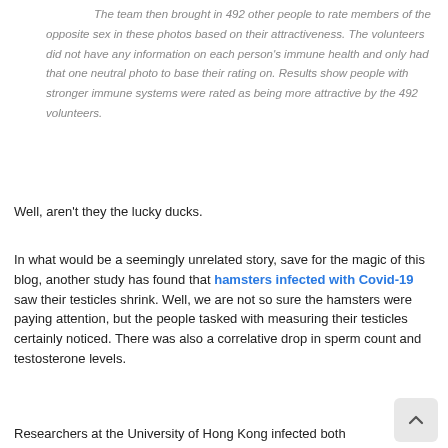The team then brought in 492 other people to rate members of the opposite sex in these photos based on their attractiveness. The volunteers did not have any information on each person's immune health and only had that one neutral photo to base their rating on. Results show people with stronger immune systems were rated as being more attractive by the 492 volunteers.
Well, aren't they the lucky ducks.
In what would be a seemingly unrelated story, save for the magic of this blog, another study has found that hamsters infected with Covid-19 saw their testicles shrink. Well, we are not so sure the hamsters were paying attention, but the people tasked with measuring their testicles certainly noticed. There was also a correlative drop in sperm count and testosterone levels.
Researchers at the University of Hong Kong infected both